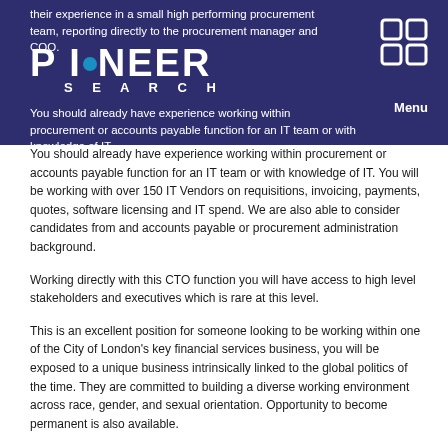their experience in a small high performing procurement team, reporting directly to the procurement manager and COO.
[Figure (logo): Pioneer Search logo with grid icon and Menu text on dark blue background]
You should already have experience working within procurement or accounts payable function for an IT team or with knowledge of IT. You will be working with over 150 IT Vendors on requisitions, invoicing, payments, quotes, software licensing and IT spend. We are also able to consider candidates from and accounts payable or procurement administration background.
Working directly with this CTO function you will have access to high level stakeholders and executives which is rare at this level.
This is an excellent position for someone looking to be working within one of the City of London's key financial services business, you will be exposed to a unique business intrinsically linked to the global politics of the time. They are committed to building a diverse working environment across race, gender, and sexual orientation. Opportunity to become permanent is also available.
This will be a contract inside IR35 with high chance for extension and opportunity for permanent employment.